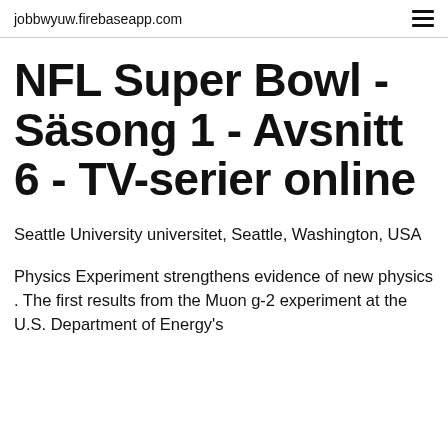jobbwyuw.firebaseapp.com
NFL Super Bowl - Säsong 1 - Avsnitt 6 - TV-serier online
Seattle University universitet, Seattle, Washington, USA
Physics Experiment strengthens evidence of new physics . The first results from the Muon g-2 experiment at the U.S. Department of Energy's